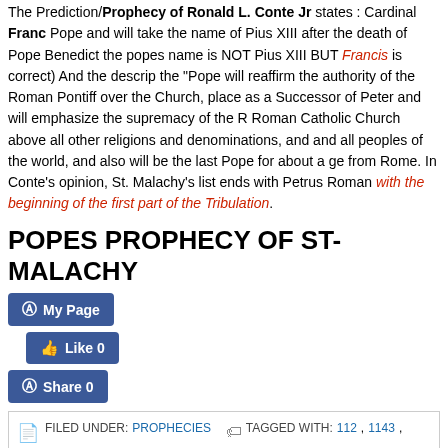The Prediction/Prophecy of Ronald L. Conte Jr states : Cardinal Franc Pope and will take the name of Pius XIII after the death of Pope Benedict the popes name is NOT Pius XIII BUT Francis is correct) And the descrip the "Pope will reaffirm the authority of the Roman Pontiff over the Church, place as a Successor of Peter and will emphasize the supremacy of the R Roman Catholic Church above all other religions and denominations, and and all peoples of the world, and also will be the last Pope for about a ge from Rome. In Conte's opinion, St. Malachy's list ends with Petrus Roman with the beginning of the first part of the Tribulation.
POPES PROPHECY OF ST-MALACHY
My Page
Like 0
Share 0
FILED UNDER: PROPHECIES   TAGGED WITH: 112, 1143, 1920, 1978, 2... A, ANTI-POPES, ANTICHRIST, APOCALYPSE, APRIL 2005, APRIL 8, ARMAGEDD... BENEDICTINE, BENEDICTINE FOUNDER BENEDICT OF NURSIA, BUDDHIST, BU... BENEDICT XVI AS HIS REGNAL NAME, CHRISTIANS, CITY OF ROME, COMPLET... POPE, CONCLUDING, DE LABORE SOLIS, DESCRIBE, DESTRUCTION, EARTH-C... AFRICAN POPE, FIRST BLACK POPE, FORMIDABLE JUDGE WILL JUDGE HIS P... ECLIPSE, FULFILLMENT PROPHECY, GERMANY, GLORIA OLIVÆ, GLORIA...